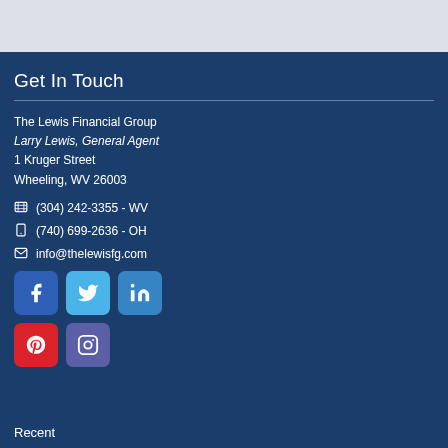Get In Touch
The Lewis Financial Group
Larry Lewis, General Agent
1 Kruger Street
Wheeling, WV 26003
(304) 242-3355 - WV
(740) 699-2636 - OH
info@thelewisfg.com
[Figure (other): Social media icons: Facebook, Twitter, LinkedIn, Pinterest, Instagram]
Recent